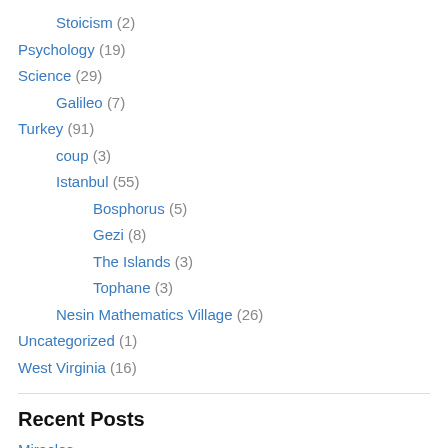Stoicism (2)
Psychology (19)
Science (29)
Galileo (7)
Turkey (91)
coup (3)
Istanbul (55)
Bosphorus (5)
Gezi (8)
The Islands (3)
Tophane (3)
Nesin Mathematics Village (26)
Uncategorized (1)
West Virginia (16)
Recent Posts
Miracles
Charles Bell's Axiomatic Drama